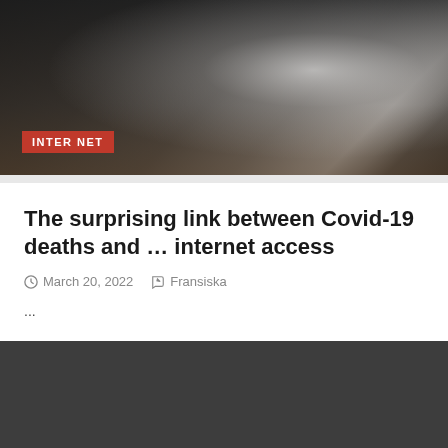[Figure (photo): Dark blurred photo of a laptop on a wooden surface with light reflecting off the screen]
INTERNET
The surprising link between Covid-19 deaths and … internet access
March 20, 2022  Fransiska
…
[Figure (photo): Dark gray section at the bottom of the page with a red scroll-to-top button in the bottom right corner]